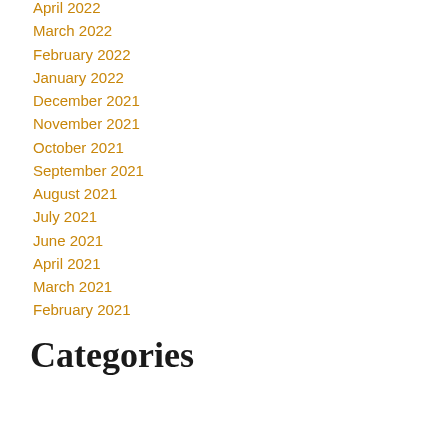April 2022
March 2022
February 2022
January 2022
December 2021
November 2021
October 2021
September 2021
August 2021
July 2021
June 2021
April 2021
March 2021
February 2021
Categories